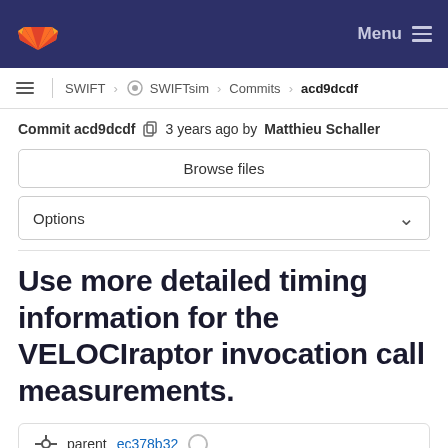GitLab navigation bar with logo and Menu button
SWIFT > SWIFTsim > Commits > acd9dcdf
Commit acd9dcdf  3 years ago by Matthieu Schaller
Browse files
Options
Use more detailed timing information for the VELOCIraptor invocation call measurements.
parent ec378b32